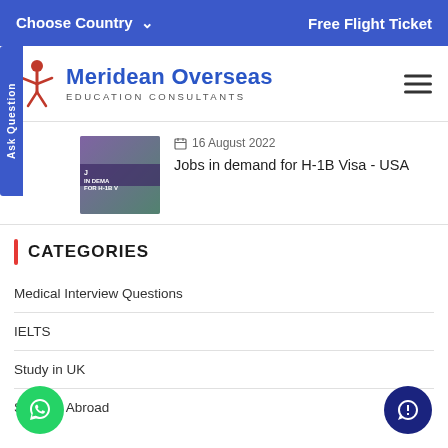Choose Country ∨   Free Flight Ticket
[Figure (logo): Meridean Overseas Education Consultants logo with figure icon]
[Figure (photo): Thumbnail image for Jobs in demand for H-1B Visa article, showing text overlay on colorful background]
16 August 2022
Jobs in demand for H-1B Visa - USA
CATEGORIES
Medical Interview Questions
IELTS
Study in UK
Study in Abroad